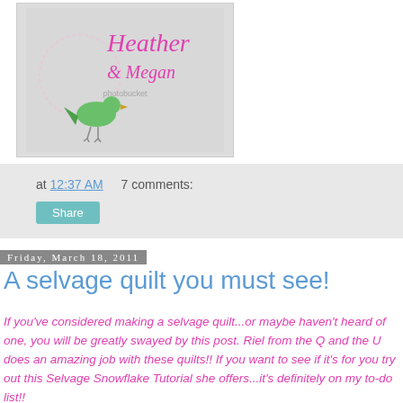[Figure (illustration): Blog header image for 'Heather & Megan' with pink cursive text and a green bird, with Photobucket watermark overlay]
at 12:37 AM   7 comments:
Share
Friday, March 18, 2011
A selvage quilt you must see!
If you've considered making a selvage quilt...or maybe haven't heard of one, you will be greatly swayed by this post.  Riel from the Q and the U does an amazing job with these quilts!!  If you want to see if it's for you try out this Selvage Snowflake Tutorial she offers...it's definitely on my to-do list!!